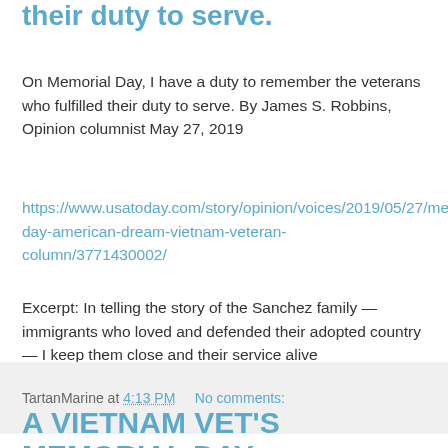their duty to serve.
On Memorial Day, I have a duty to remember the veterans who fulfilled their duty to serve. By James S. Robbins, Opinion columnist May 27, 2019
https://www.usatoday.com/story/opinion/voices/2019/05/27/memorial-day-american-dream-vietnam-veteran-column/3771430002/
Excerpt: In telling the story of the Sanchez family — immigrants who loved and defended their adopted country — I keep them close and their service alive
TartanMarine at 4:13 PM   No comments:
A VIETNAM VET'S MEMORIAL DAY